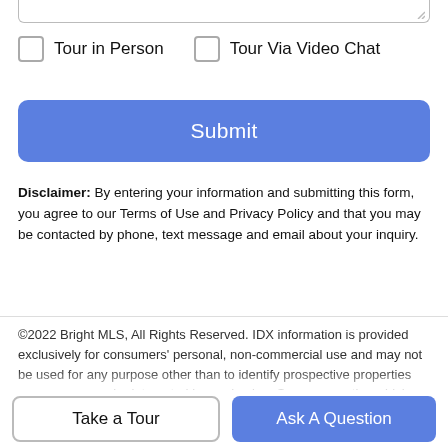Tour in Person
Tour Via Video Chat
Submit
Disclaimer: By entering your information and submitting this form, you agree to our Terms of Use and Privacy Policy and that you may be contacted by phone, text message and email about your inquiry.
©2022 Bright MLS, All Rights Reserved. IDX information is provided exclusively for consumers' personal, non-commercial use and may not be used for any purpose other than to identify prospective properties consumers may be interested in purchasing. Some properties which appear for sale may no longer be available because they are for instance, under contract, sold, or are no longer being offered for sale. Information is deemed reliable but is not guaranteed accurate by the MLS or Eng Garcia
Take a Tour
Ask A Question